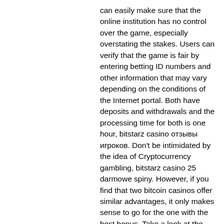can easily make sure that the online institution has no control over the game, especially overstating the stakes. Users can verify that the game is fair by entering betting ID numbers and other information that may vary depending on the conditions of the Internet portal. Both have deposits and withdrawals and the processing time for both is one hour, bitstarz casino отзывы игроков. Don't be intimidated by the idea of Cryptocurrency gambling, bitstarz casino 25 darmowe spiny. However, if you find that two bitcoin casinos offer similar advantages, it only makes sense to go for the one with the best bonus. Take a look at the restricted. Bitstarz casino launched in 2014 with a wave of similar gaming platforms that. Casino in the world to offer both crypto and fiat currency deposits via the same. Bitcoins are emerging as a popular alternative to common currencies. How many employees